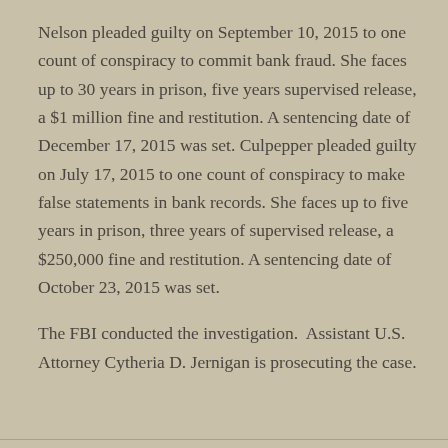Nelson pleaded guilty on September 10, 2015 to one count of conspiracy to commit bank fraud. She faces up to 30 years in prison, five years supervised release, a $1 million fine and restitution. A sentencing date of December 17, 2015 was set. Culpepper pleaded guilty on July 17, 2015 to one count of conspiracy to make false statements in bank records. She faces up to five years in prison, three years of supervised release, a $250,000 fine and restitution. A sentencing date of October 23, 2015 was set.
The FBI conducted the investigation.  Assistant U.S. Attorney Cytheria D. Jernigan is prosecuting the case.